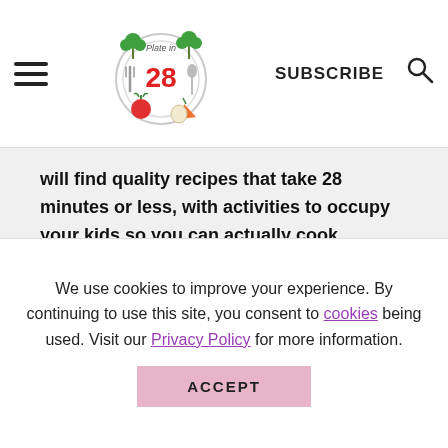Plate in 28 — SUBSCRIBE (navigation header with logo, hamburger menu, subscribe text, and search icon)
will find quality recipes that take 28 minutes or less, with activities to occupy your kids so you can actually cook.
More about us →
SUMMER RECIPES
We use cookies to improve your experience. By continuing to use this site, you consent to cookies being used. Visit our Privacy Policy for more information.
ACCEPT